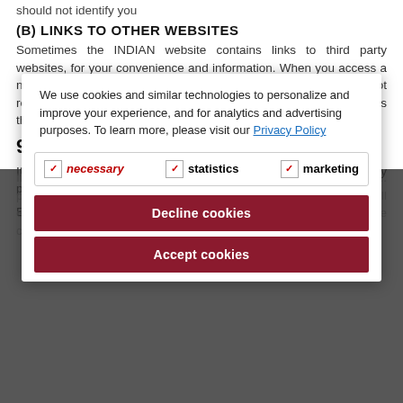should not identify you
(B) LINKS TO OTHER WEBSITES
Sometimes the INDIAN website contains links to third party websites, for your convenience and information. When you access a non-INDIAN website, please understand that INDIAN is not responsible for the privacy practices of that site. INDIAN suggests that you review the privacy policies of ea...
9. Contacting INDIAN
If you have any questions or comments about this Privacy Policy please contact INDIAN's Privacy Officer at:
En...
If you have any concerns or complaints about how INDIAN has... please contact... details. We will investigate your complaint and will endeavour to respond to you within 30 days of receiving the complaint. If you are dissatisfied with the response th...
[Figure (infographic): Cookie consent overlay with text: 'We use cookies and similar technologies to personalize and improve your experience, and for analytics and advertising purposes. To learn more, please visit our Privacy Policy'. Checkboxes for necessary, statistics, marketing. Two buttons: Decline cookies, Accept cookies.]